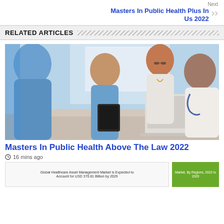Next
Masters In Public Health Plus In Us 2022
RELATED ARTICLES
[Figure (photo): Medical team with doctors and nurses looking at a laptop during a meeting]
Masters In Public Health Above The Law 2022
16 mins ago
[Figure (photo): Global Healthcare Asset Management Market chart thumbnail - USD 370.81 Billion by 2029]
[Figure (photo): Market By Regions 2022 to 2029 green chart thumbnail]